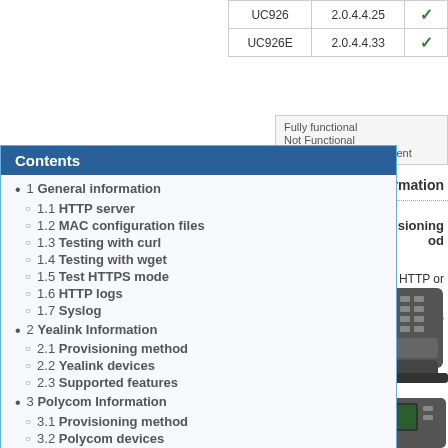|  |  |
| --- | --- |
| UC926 | 2.0.4.4.25 | ✓ |
| UC926E | 2.0.4.4.33 | ✓ |
Fully functional
Not Functional
Needs manual adjustment
va Information
isioning od
PS, HTTP or
va devices
[Figure (photo): VoIP desk phone device photo]
[Figure (photo): Second VoIP desk phone partially visible at bottom]
Contents
1 General information
1.1 HTTP server
1.2 MAC configuration files
1.3 Testing with curl
1.4 Testing with wget
1.5 Test HTTPS mode
1.6 HTTP logs
1.7 Syslog
2 Yealink Information
2.1 Provisioning method
2.2 Yealink devices
2.3 Supported features
3 Polycom Information
3.1 Provisioning method
3.2 Polycom devices
3.3 Supported features